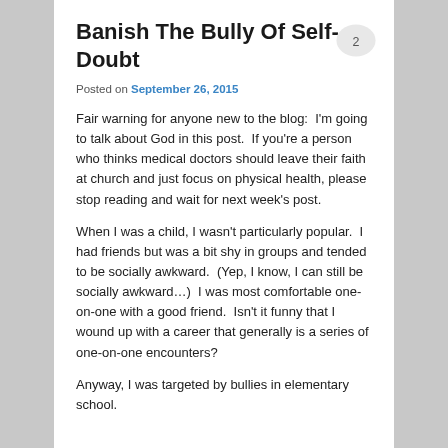Banish The Bully Of Self-Doubt
Posted on September 26, 2015
Fair warning for anyone new to the blog:  I'm going to talk about God in this post.  If you're a person who thinks medical doctors should leave their faith at church and just focus on physical health, please stop reading and wait for next week's post.
When I was a child, I wasn't particularly popular.  I had friends but was a bit shy in groups and tended to be socially awkward.  (Yep, I know, I can still be socially awkward…)  I was most comfortable one-on-one with a good friend.  Isn't it funny that I wound up with a career that generally is a series of one-on-one encounters?
Anyway, I was targeted by bullies in elementary school.